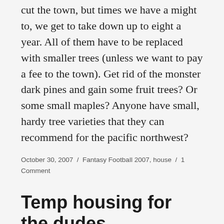cut the town, but times we have a might to, we get to take down up to eight a year. All of them have to be replaced with smaller trees (unless we want to pay a fee to the town). Get rid of the monster dark pines and gain some fruit trees? Or some small maples? Anyone have small, hardy tree varieties that they can recommend for the pacific northwest?
October 30, 2007 / Fantasy Football 2007, house / 1 Comment
Temp housing for the dudes
The move on Saturday went extremely quickly,